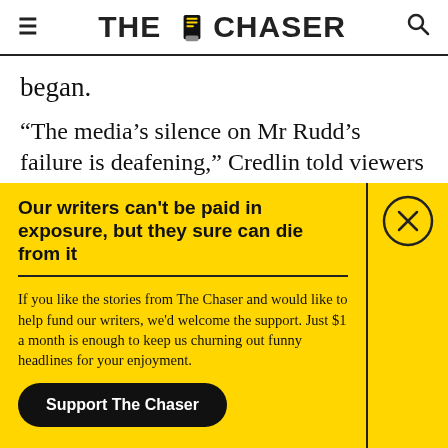THE CHASER
began.
“The media’s silence on Mr Rudd’s failure is deafening,” Credlin told viewers today. “Maybe if they’d been a bit more like Sky and spent a little
Our writers can't be paid in exposure, but they sure can die from it
If you like the stories from The Chaser and would like to help fund our writers, we'd welcome the support. Just $1 a month is enough to keep us churning out funny headlines for your enjoyment.
Support The Chaser
Sick of this popup? Click here to never see this again.